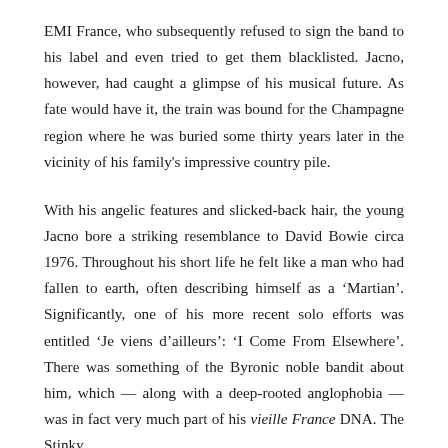EMI France, who subsequently refused to sign the band to his label and even tried to get them blacklisted. Jacno, however, had caught a glimpse of his musical future. As fate would have it, the train was bound for the Champagne region where he was buried some thirty years later in the vicinity of his family's impressive country pile.
With his angelic features and slicked-back hair, the young Jacno bore a striking resemblance to David Bowie circa 1976. Throughout his short life he felt like a man who had fallen to earth, often describing himself as a ‘Martian’. Significantly, one of his more recent solo efforts was entitled ‘Je viens d’ailleurs’: ‘I Come From Elsewhere’. There was something of the Byronic noble bandit about him, which — along with a deep-rooted anglophobia — was in fact very much part of his vieille France DNA. The Stinky